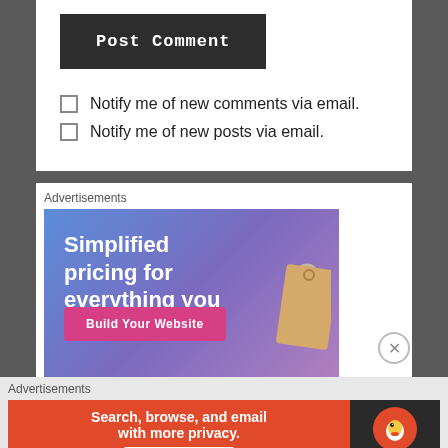Post Comment
Notify me of new comments via email.
Notify me of new posts via email.
Advertisements
[Figure (illustration): Advertisement banner: 'Simplified pricing for everything you need.' with a 'Build Your Website' button, blue-purple gradient background and a price tag image]
Advertisements
[Figure (illustration): DuckDuckGo advertisement banner: 'Search, browse, and email with more privacy. All in One Free App' on orange background with DuckDuckGo logo on dark right panel]